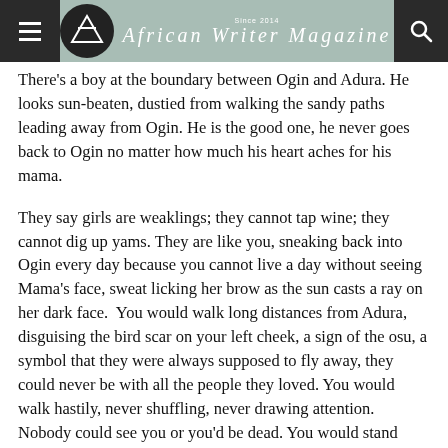African Writer Magazine · Since 2014
There's a boy at the boundary between Ogin and Adura. He looks sun-beaten, dustied from walking the sandy paths leading away from Ogin. He is the good one, he never goes back to Ogin no matter how much his heart aches for his mama.
They say girls are weaklings; they cannot tap wine; they cannot dig up yams. They are like you, sneaking back into Ogin every day because you cannot live a day without seeing Mama's face, sweat licking her brow as the sun casts a ray on her dark face.  You would walk long distances from Adura, disguising the bird scar on your left cheek, a sign of the osu, a symbol that they were always supposed to fly away, they could never be with all the people they loved. You would walk hastily, never shuffling, never drawing attention. Nobody could see you or you'd be dead. You would stand